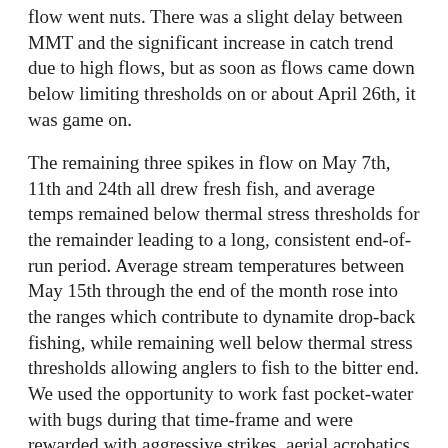flow went nuts. There was a slight delay between MMT and the significant increase in catch trend due to high flows, but as soon as flows came down below limiting thresholds on or about April 26th, it was game on.
The remaining three spikes in flow on May 7th, 11th and 24th all drew fresh fish, and average temps remained below thermal stress thresholds for the remainder leading to a long, consistent end-of-run period. Average stream temperatures between May 15th through the end of the month rose into the ranges which contribute to dynamite drop-back fishing, while remaining well below thermal stress thresholds allowing anglers to fish to the bitter end. We used the opportunity to work fast pocket-water with bugs during that time-frame and were rewarded with aggressive strikes, aerial acrobatics and unstoppable screaming runs. Those are the kinds of days that going O-fer is just as much fun as landing fish, maybe more so.
2019 Mid Shore Weekly Data